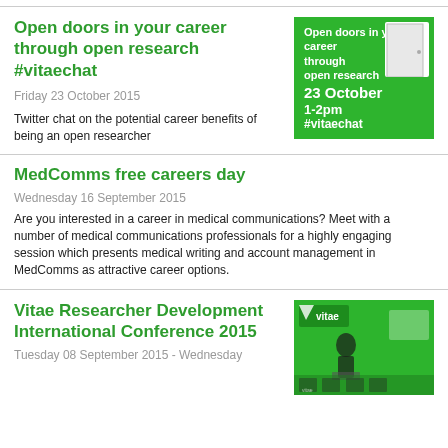Open doors in your career through open research #vitaechat
Friday 23 October 2015
Twitter chat on the potential career benefits of being an open researcher
[Figure (infographic): Green promotional banner: 'Open doors in your career through open research 23 October 1-2pm #vitaechat' with door graphic on green background]
MedComms free careers day
Wednesday 16 September 2015
Are you interested in a career in medical communications? Meet with a number of medical communications professionals for a highly engaging session which presents medical writing and account management in MedComms as attractive career options.
Vitae Researcher Development International Conference 2015
Tuesday 08 September 2015 - Wednesday
[Figure (photo): Photo of a person speaking at a Vitae conference with green branded backdrop and audience panel visible]